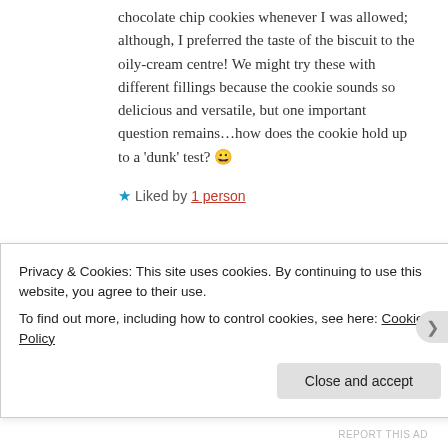chocolate chip cookies whenever I was allowed; although, I preferred the taste of the biscuit to the oily-cream centre! We might try these with different fillings because the cookie sounds so delicious and versatile, but one important question remains…how does the cookie hold up to a 'dunk' test? 😀
★ Liked by 1 person
LARICE   March 7, 2016 at 9:48 am   REPLY →
Privacy & Cookies: This site uses cookies. By continuing to use this website, you agree to their use.
To find out more, including how to control cookies, see here: Cookie Policy
Close and accept